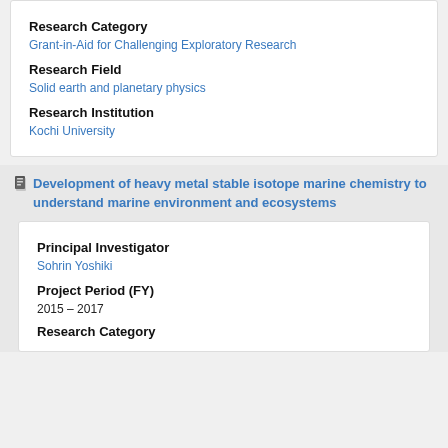Research Category
Grant-in-Aid for Challenging Exploratory Research
Research Field
Solid earth and planetary physics
Research Institution
Kochi University
Development of heavy metal stable isotope marine chemistry to understand marine environment and ecosystems
Principal Investigator
Sohrin Yoshiki
Project Period (FY)
2015 – 2017
Research Category